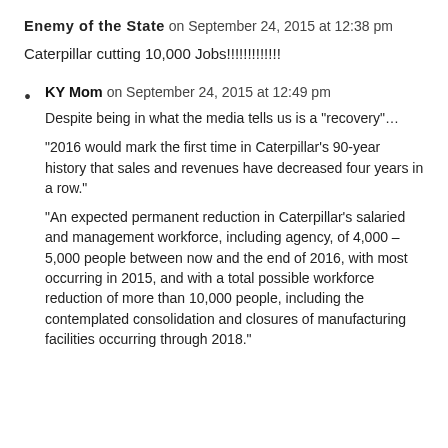Enemy of the State on September 24, 2015 at 12:38 pm
Caterpillar cutting 10,000 Jobs!!!!!!!!!!!!!
KY Mom on September 24, 2015 at 12:49 pm
Despite being in what the media tells us is a “recovery”…
“2016 would mark the first time in Caterpillar’s 90-year history that sales and revenues have decreased four years in a row.”
“An expected permanent reduction in Caterpillar’s salaried and management workforce, including agency, of 4,000 – 5,000 people between now and the end of 2016, with most occurring in 2015, and with a total possible workforce reduction of more than 10,000 people, including the contemplated consolidation and closures of manufacturing facilities occurring through 2018.”